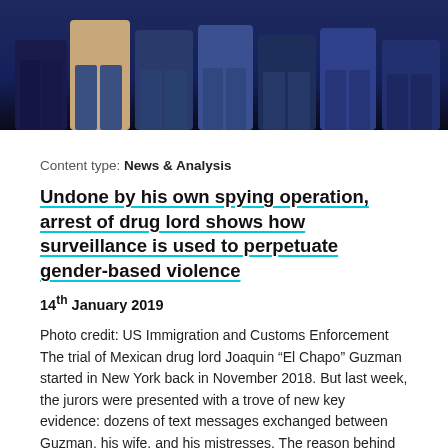[Figure (photo): Partial photo of several people standing, cropped to show their lower bodies and torsos against a dark background]
Content type: News & Analysis
Undone by his own spying operation, arrest of drug lord shows how surveillance is used to perpetuate gender-based violence
14th January 2019
Photo credit: US Immigration and Customs Enforcement The trial of Mexican drug lord Joaquin “El Chapo” Guzman started in New York back in November 2018. But last week, the jurors were presented with a trove of new key evidence: dozens of text messages exchanged between Guzman, his wife, and his mistresses. The reason behind this set of revelations? Guzman had been spying on his wife and